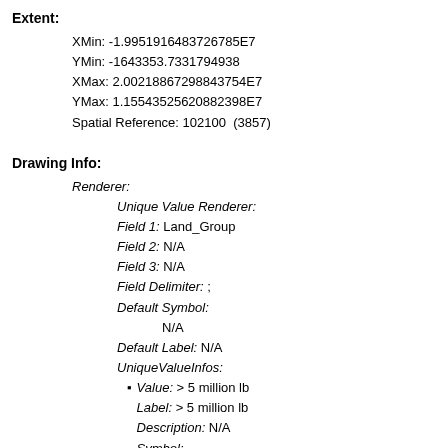Extent:
XMin: -1.9951916483726785E7
YMin: -1643353.7331794938
XMax: 2.00218867298843754E7
YMax: 1.15543525620882398E7
Spatial Reference: 102100 (3857)
Drawing Info:
Renderer:
  Unique Value Renderer:
  Field 1: Land_Group
  Field 2: N/A
  Field 3: N/A
  Field Delimiter: ;
  Default Symbol:
    N/A
  Default Label: N/A
  UniqueValueInfos:
    Value: > 5 million lb
    Label: > 5 million lb
    Description: N/A
    Symbol:
      Style: esriSFSSolid
      Color: [34, 51, 19, 255]
      Outline: